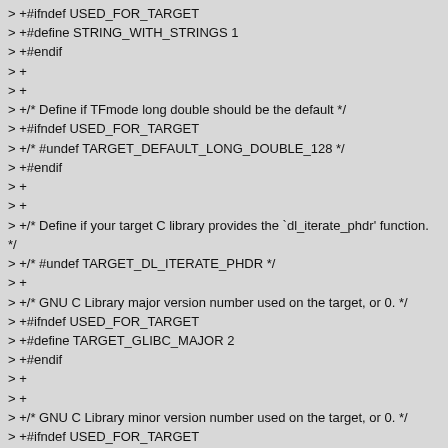> +#ifndef USED_FOR_TARGET
> +#define STRING_WITH_STRINGS 1
> +#endif
> +
> +
> +/* Define if TFmode long double should be the default */
> +#ifndef USED_FOR_TARGET
> +/* #undef TARGET_DEFAULT_LONG_DOUBLE_128 */
> +#endif
> +
> +
> +/* Define if your target C library provides the `dl_iterate_phdr' function. */
> +/* #undef TARGET_DL_ITERATE_PHDR */
> +
> +/* GNU C Library major version number used on the target, or 0. */
> +#ifndef USED_FOR_TARGET
> +#define TARGET_GLIBC_MAJOR 2
> +#endif
> +
> +
> +/* GNU C Library minor version number used on the target, or 0. */
> +#ifndef USED_FOR_TARGET
> +#define TARGET_GLIBC_MINOR 27
> +#endif
> +
> +